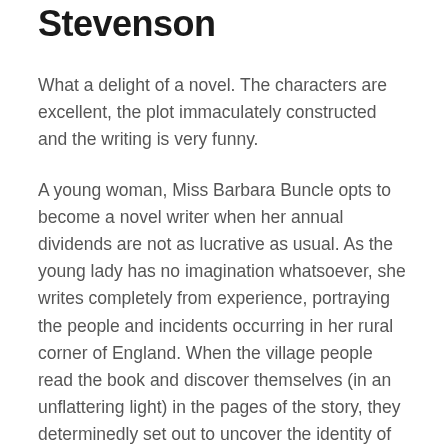Stevenson
What a delight of a novel. The characters are excellent, the plot immaculately constructed and the writing is very funny.
A young woman, Miss Barbara Buncle opts to become a novel writer when her annual dividends are not as lucrative as usual. As the young lady has no imagination whatsoever, she writes completely from experience, portraying the people and incidents occurring in her rural corner of England. When the village people read the book and discover themselves (in an unflattering light) in the pages of the story, they determinedly set out to uncover the identity of the perpetrator of the village crime.